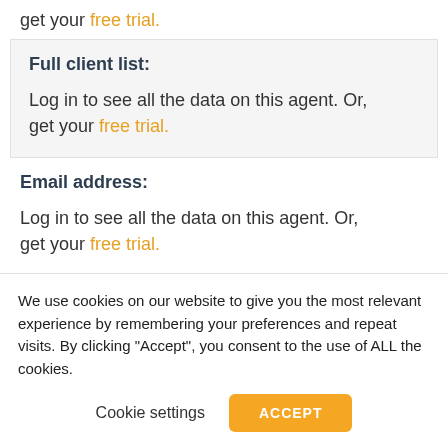get your free trial.
Full client list:
Log in to see all the data on this agent. Or, get your free trial.
Email address:
Log in to see all the data on this agent. Or, get your free trial.
We use cookies on our website to give you the most relevant experience by remembering your preferences and repeat visits. By clicking "Accept", you consent to the use of ALL the cookies.